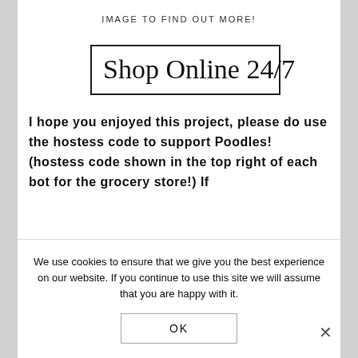IMAGE TO FIND OUT MORE!
[Figure (illustration): Rectangular bordered box with handwritten-style text reading 'Shop Online 24/7']
I hope you enjoyed this project, please do use the hostess code to support Poodles! (hostess code shown in the top right of each bot for the grocery store!) If
We use cookies to ensure that we give you the best experience on our website. If you continue to use this site we will assume that you are happy with it.
OK